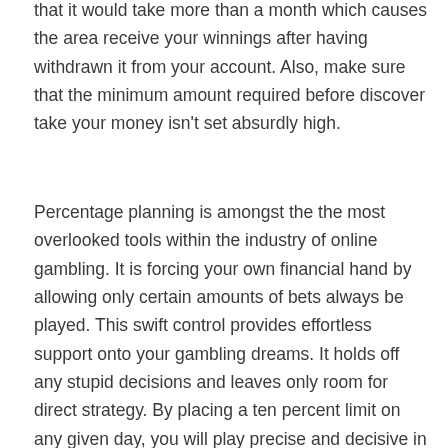that it would take more than a month which causes the area receive your winnings after having withdrawn it from your account. Also, make sure that the minimum amount required before discover take your money isn't set absurdly high.
Percentage planning is amongst the the most overlooked tools within the industry of online gambling. It is forcing your own financial hand by allowing only certain amounts of bets always be played. This swift control provides effortless support onto your gambling dreams. It holds off any stupid decisions and leaves only room for direct strategy. By placing a ten percent limit on any given day, you will play precise and decisive in solar panel systems do,